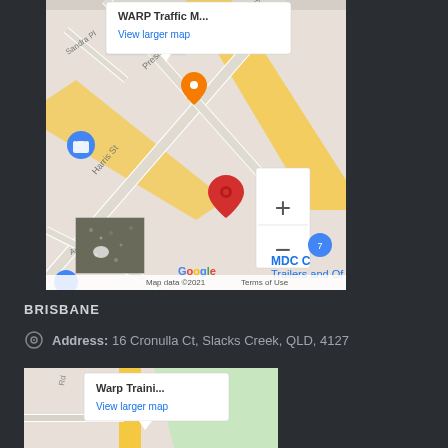[Figure (map): Google Maps screenshot showing WARP Traffic Management W location with red pin, street map with Harris St, President St, Sandra Pl, Annie St. Shows zoom controls (+/-), thumbnail satellite image, Google logo, Map data ©2021, Terms of Use. Info window shows 'WARP Traffic M...' and 'View larger map'.]
BRISBANE
Address: 16 Cronulla Ct, Slacks Creek, QLD, 4127
[Figure (map): Google Maps screenshot showing Warp Traini... location. Info window shows 'Warp Traini...' and 'View larger map' link. Map shows road and green area.]